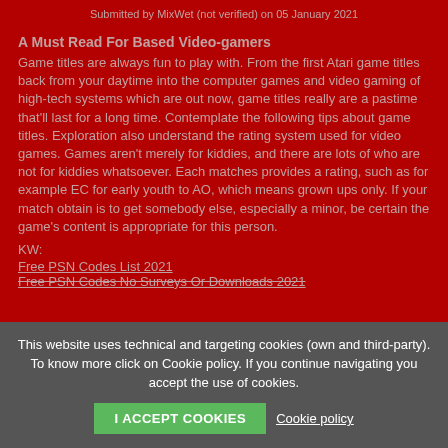Submitted by MixWet (not verified) on 05 January 2021
A Must Read For Based Video-gamers
Game titles are always fun to play with. From the first Atari game titles back from your daytime into the computer games and video gaming of high-tech systems which are out now, game titles really are a pastime that'll last for a long time. Contemplate the following tips about game titles. Exploration also understand the rating system used for video games. Games aren't merely for kiddies, and there are lots of who are not for kiddies whatsoever. Each matches provides a rating, such as for example EC for early youth to AO, which means grown ups only. If your match obtain is to get somebody else, especially a minor, be certain the game's content is appropriate for this person.
KW:
Free PSN Codes List 2021
Free PSN Codes No Surveys Or Downloads 2021
This website uses technical and targeting cookies (own and third-party). To know more click on Cookie policy. If you continue navigating you accept the use of cookies.
I ACCEPT COOKIES
Cookie policy